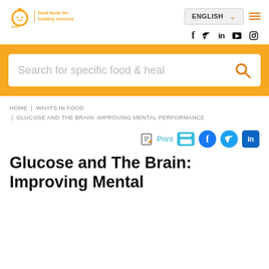[Figure (logo): EUFIC logo with orange apple icon and tagline 'food facts for healthy choices']
[Figure (screenshot): Navigation bar with ENGLISH language selector dropdown and hamburger menu icon]
[Figure (infographic): Social media icons: f (Facebook), Twitter bird, in (LinkedIn), YouTube, Instagram]
[Figure (screenshot): Orange search banner with search box containing text 'Search for specific food & heal' and orange search icon]
HOME | WHATS IN FOOD | GLUCOSE AND THE BRAIN: IMPROVING MENTAL PERFORMANCE
[Figure (infographic): Share/print bar with PDF icon, Print label, printer icon, Facebook, Twitter, LinkedIn share icons]
Glucose and The Brain: Improving Mental